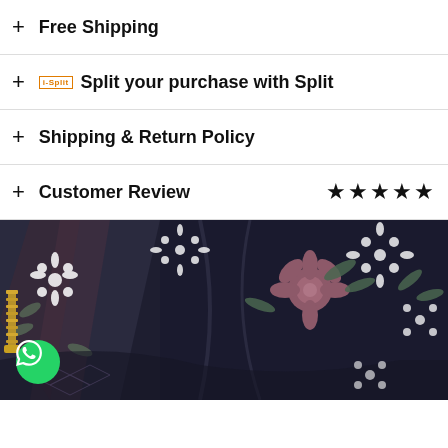+ Free Shipping
+ Split your purchase with Split
+ Shipping & Return Policy
+ Customer Review ★★★★★
[Figure (photo): Close-up photo of dark navy floral patterned fabric with white and mauve flowers, geometric designs, and a gold zipper visible on the left side.]